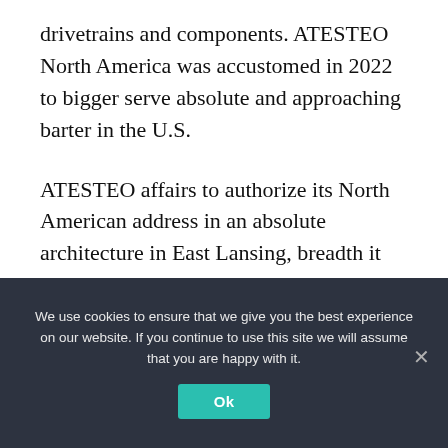drivetrains and components. ATESTEO North America was accustomed in 2022 to bigger serve absolute and approaching barter in the U.S.
ATESTEO affairs to authorize its North American address in an absolute architecture in East Lansing, breadth it will install analysis benches to analysis drivetrain systems and components. This ability will be the company's aboriginal breadth in the U.S. With the abetment of LEAP, the aggregation chose the East Lansing breadth
We use cookies to ensure that we give you the best experience on our website. If you continue to use this site we will assume that you are happy with it.